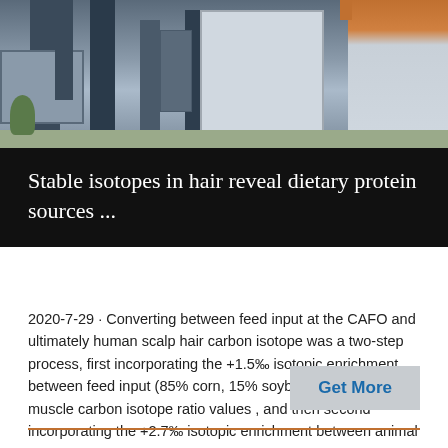[Figure (photo): Industrial facility exterior showing metal columns, containers, and warehouse walls with an orange roof accent]
Stable isotopes in hair reveal dietary protein sources ...
2020-7-29 · Converting between feed input at the CAFO and ultimately human scalp hair carbon isotope was a two-step process, first incorporating the +1.5‰ isotopic enrichment between feed input (85% corn, 15% soybean) and animal muscle carbon isotope ratio values , and then second incorporating the +2.7‰ isotopic enrichment between animal tissue in the ...
Get More